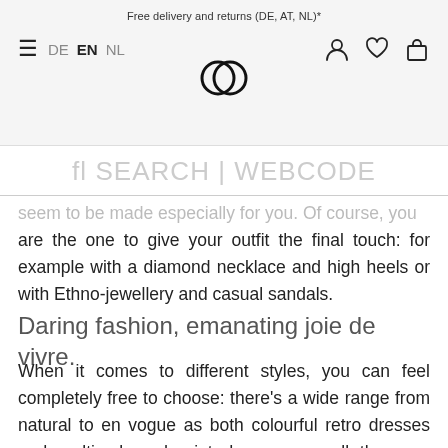Free delivery and returns (DE, AT, NL)*
fl SEARCH | WEBCODE
seem to be made especially for you. Of course, you are the one to give your outfit the final touch: for example with a diamond necklace and high heels or with Ethno-jewellery and casual sandals.
Daring fashion, emanating joie de vivre.
When it comes to different styles, you can feel completely free to choose: there's a wide range from natural to en vogue as both colourful retro dresses and multi-coloured print dresses are all the rage again, mainly because of their diverse combination